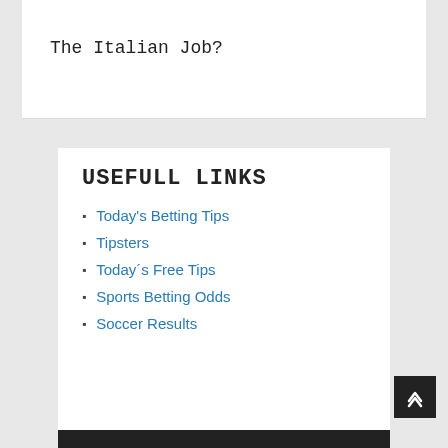The Italian Job?
USEFULL LINKS
Today's Betting Tips
Tipsters
Today's Free Tips
Sports Betting Odds
Soccer Results